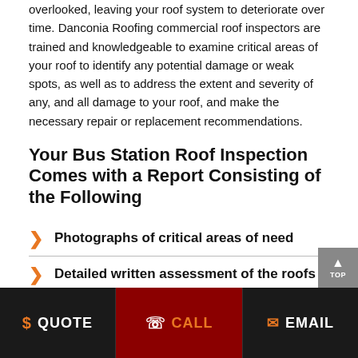overlooked, leaving your roof system to deteriorate over time. Danconia Roofing commercial roof inspectors are trained and knowledgeable to examine critical areas of your roof to identify any potential damage or weak spots, as well as to address the extent and severity of any, and all damage to your roof, and make the necessary repair or replacement recommendations.
Your Bus Station Roof Inspection Comes with a Report Consisting of the Following
Photographs of critical areas of need
Detailed written assessment of the roofs current condition and current and future needs
Repair or replacement paths
$ QUOTE   CALL   EMAIL   TOP